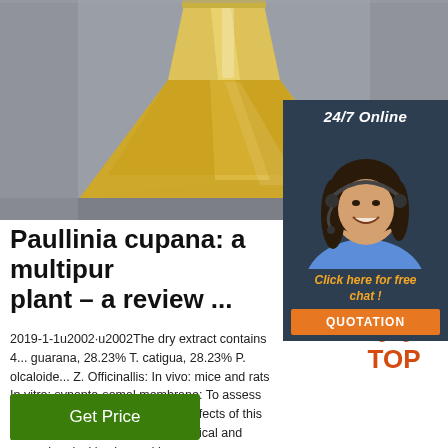[Figure (photo): A glass Erlenmeyer flask containing a golden-yellow liquid, photographed on a gray background. Science/chemistry lab setting.]
Paullinia cupana: a multipurpose plant – a review ...
2019-1-1u2002·u2002The dry extract contains 4... guarana, 28.23% T. catigua, 28.23% P. olcaloide... Z. Officinallis: In vivo: mice and rats In vitro: synapto-somal membrane: To assess the possible antidepressant-like effects of this product by means of pharmacological and neurochemical in vivo and in ...
[Figure (other): 24/7 Online chat widget with a photo of a smiling woman wearing a headset, a 'Click here for free chat!' message in orange italic text, and an orange QUOTATION button.]
[Figure (logo): TOP badge logo with orange dots arranged in a triangle above the word TOP in orange.]
Get Price